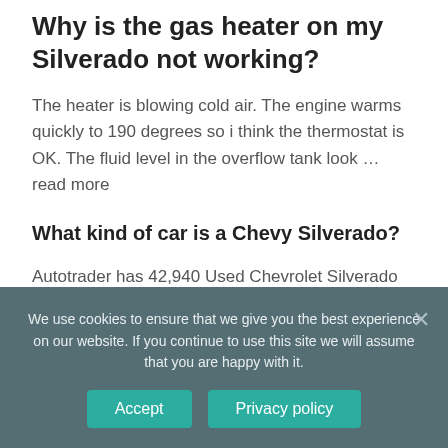Why is the gas heater on my Silverado not working?
The heater is blowing cold air. The engine warms quickly to 190 degrees so i think the thermostat is OK. The fluid level in the overflow tank look … read more
What kind of car is a Chevy Silverado?
Autotrader has 42,940 Used Chevrolet Silverado 1500 cars for sale, including a 2002 Chevrolet Silverado 1500 Long Bed, a 2017
We use cookies to ensure that we give you the best experience on our website. If you continue to use this site we will assume that you are happy with it.
Accept
Privacy policy